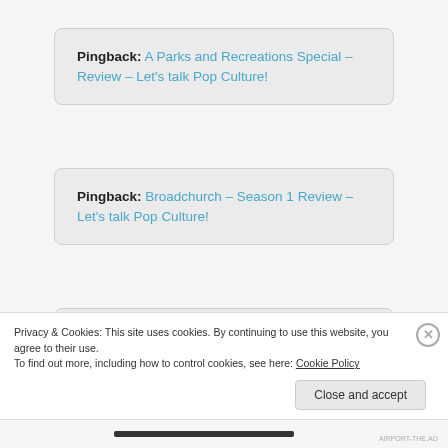Pingback: A Parks and Recreations Special – Review – Let's talk Pop Culture!
Pingback: Broadchurch – Season 1 Review – Let's talk Pop Culture!
Pingback: Christopher Nolan – Top 10 Movies – Let's talk Pop Culture!
Privacy & Cookies: This site uses cookies. By continuing to use this website, you agree to their use.
To find out more, including how to control cookies, see here: Cookie Policy
Close and accept